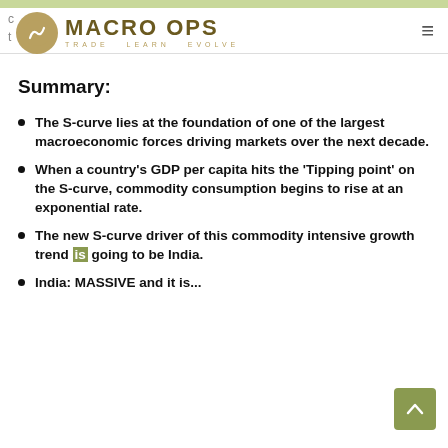MACRO OPS — TRADE · LEARN · EVOLVE
Summary:
The S-curve lies at the foundation of one of the largest macroeconomic forces driving markets over the next decade.
When a country's GDP per capita hits the 'Tipping point' on the S-curve, commodity consumption begins to rise at an exponential rate.
The new S-curve driver of this commodity intensive growth trend is going to be India.
India: MASSIVE and it is...